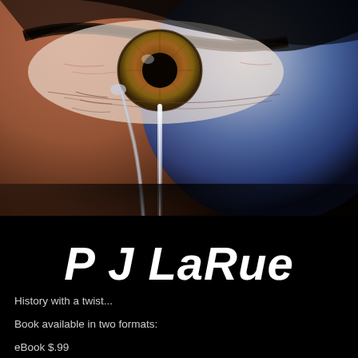[Figure (illustration): Close-up photo of a human eye with a tear streaming down the cheek, overlaid with a large blue/grey glowing sphere on the right side. Dark/black background surrounds the imagery. A thin white vertical light streak runs down from the tear.]
P J LaRue
History with a twist...
Book available in two formats:
eBook $.99
Audio $0.00 with your free trial, or $6.08 to purchase